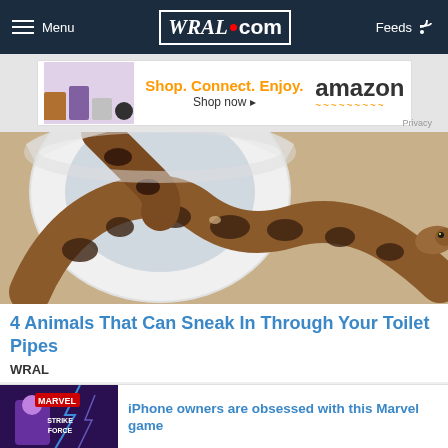Menu | WRAL.com | Feeds
[Figure (screenshot): Amazon advertisement banner: Shop. Connect. Enjoy. Shop now. amazon. Privacy.]
[Figure (photo): A boa constrictor snake coiled in a white toilet bowl, with head raised, brown and black patterned scales.]
4 Animals That Can Sneak In Through Your Toilet Pipes
WRAL
[Figure (screenshot): Thumbnail image for Marvel Strike Force game promotion]
iPhone owners are obsessed with this Marvel game